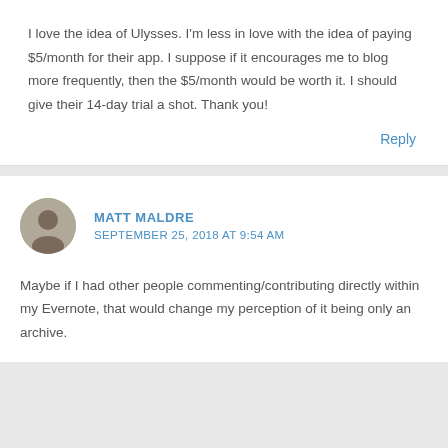I love the idea of Ulysses. I'm less in love with the idea of paying $5/month for their app. I suppose if it encourages me to blog more frequently, then the $5/month would be worth it. I should give their 14-day trial a shot. Thank you!
Reply
MATT_MALDRE
SEPTEMBER 25, 2018 AT 9:54 AM
Maybe if I had other people commenting/contributing directly within my Evernote, that would change my perception of it being only an archive.